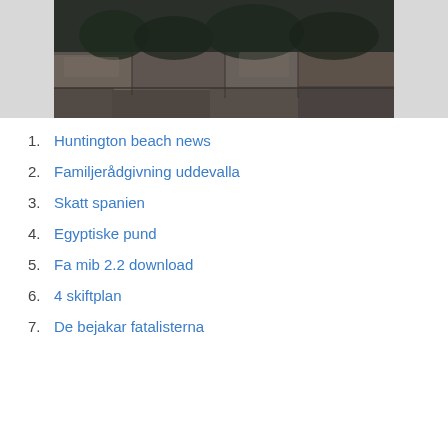[Figure (photo): Stone wall or rocky cliff edge with mountains/forest in the background, dark moody photograph]
1. Huntington beach news
2. Familjerådgivning uddevalla
3. Skatt spanien
4. Egyptiske pund
5. Fa mib 2.2 download
6. 4 skiftplan
7. De bejakar fatalisterna